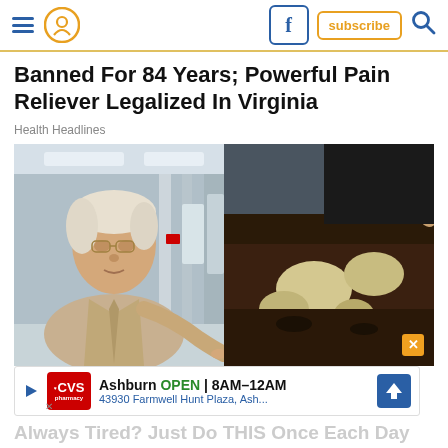Navigation header with hamburger menu, location icon, Facebook icon, subscribe button, and search icon
Banned For 84 Years; Powerful Pain Reliever Legalized In Virginia
Health Headlines
[Figure (photo): Split image: left side shows an older man with white hair and glasses in a beige suit pointing at something, standing in a medical hallway; right side shows a close-up of hands handling what appears to be mushrooms or organic material on a dark surface. A small orange X button appears at bottom right.]
[Figure (screenshot): CVS Pharmacy advertisement banner showing: Ashburn OPEN 8AM-12AM, 43930 Farmwell Hunt Plaza, Ash... with a blue navigation arrow button]
Always Tired? Just Do THIS Once Each Day